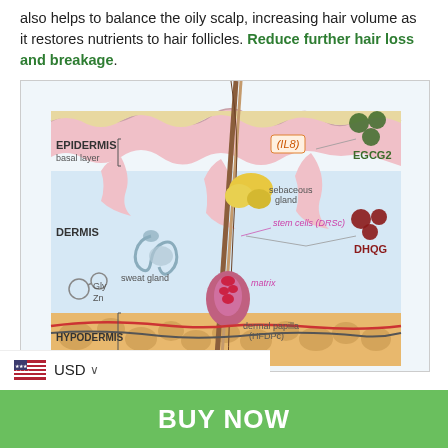also helps to balance the oily scalp, increasing hair volume as it restores nutrients to hair follicles. Reduce further hair loss and breakage.
[Figure (illustration): Anatomical cross-section diagram of skin layers showing a hair follicle with labels: EPIDERMIS, basal layer, sebaceous gland, stem cells (DRSc), dermal papilla (HFDPc), matrix, DERMIS, sweat gland, HYPODERMIS. Annotations show EGCG2 compound (dark green hexagonal structure) near epidermis, DHQG compound (dark red structure) near dermis, and Gly/Zn molecule near hypodermis. IL8 is labeled in the epidermis area.]
USD
BUY NOW